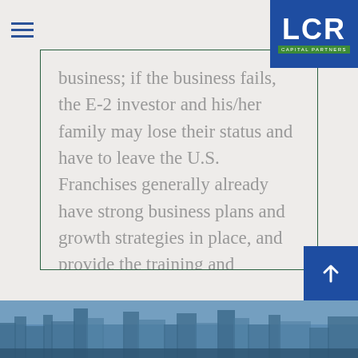[Figure (logo): LCR Capital Partners logo — white letters LCR on blue background with green CAPITAL PARTNERS bar]
business; if the business fails, the E-2 investor and his/her family may lose their status and have to leave the U.S. Franchises generally already have strong business plans and growth strategies in place, and provide the training and framework needed for the business's success.
[Figure (photo): Blue-tinted city skyline photograph at bottom of page]
[Figure (other): Blue square with white upward arrow, scroll-to-top button]